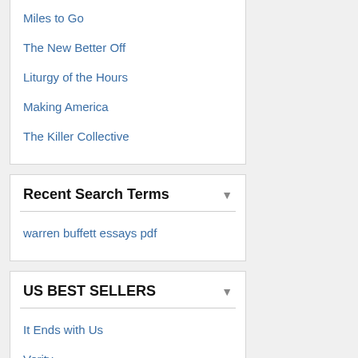Miles to Go
The New Better Off
Liturgy of the Hours
Making America
The Killer Collective
Recent Search Terms
warren buffett essays pdf
US BEST SELLERS
It Ends with Us
Verity
Ugly Love